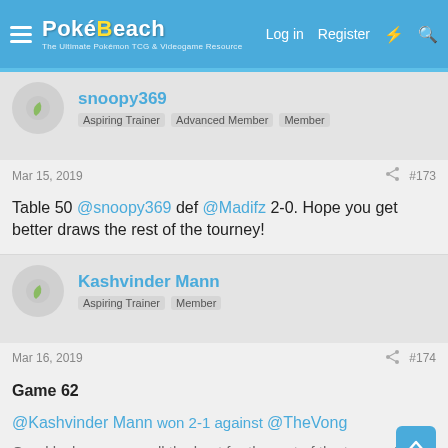PokéBeach — Log in  Register
snoopy369
Aspiring Trainer  Advanced Member  Member
Mar 15, 2019  #173
Table 50 @snoopy369 def @Madifz 2-0. Hope you get better draws the rest of the tourney!
Kashvinder Mann
Aspiring Trainer  Member
Mar 16, 2019  #174
Game 62
@Kashvinder Mann won 2-1 against @TheVong
Good luck everyone all the best for the rest of the tourney!